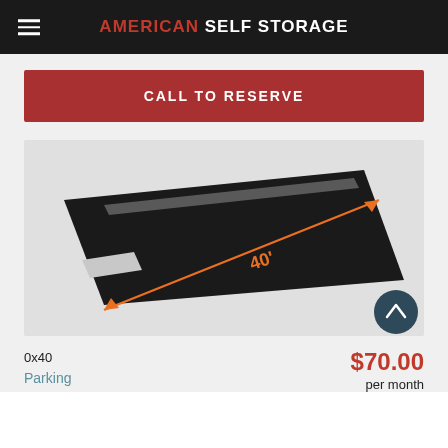AMERICAN SELF STORAGE
CALL TO RESERVE
[Figure (illustration): 3D illustration of a long narrow parking space (0x40) shown in perspective with orange measurement arrow indicating 40 feet length, on a gray background.]
0x40
Parking
$70.00
per month